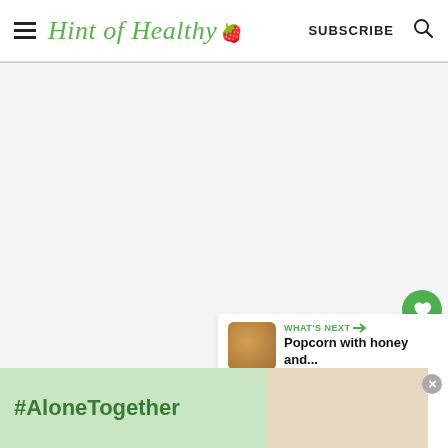Hint of Healthy — SUBSCRIBE — Search
[Figure (screenshot): Main content area with light gray background, social action bar with heart (38 likes) and share buttons on the right side]
38
WHAT'S NEXT → Popcorn with honey and...
[Figure (photo): Advertisement banner: #AloneTogether with a photo of a man and child, and a TV network logo]